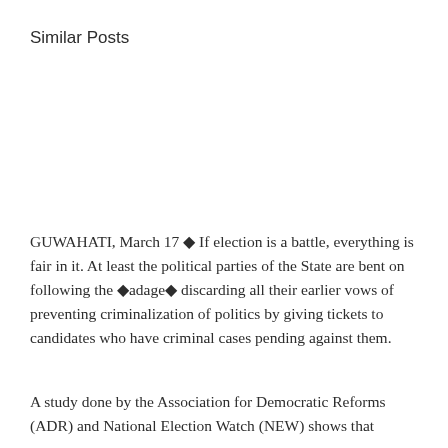Similar Posts
GUWAHATI, March 17 ◆ If election is a battle, everything is fair in it. At least the political parties of the State are bent on following the ◆adage◆ discarding all their earlier vows of preventing criminalization of politics by giving tickets to candidates who have criminal cases pending against them.
A study done by the Association for Democratic Reforms (ADR) and National Election Watch (NEW) shows that